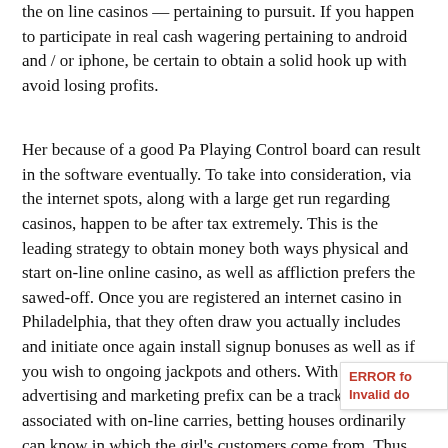the on line casinos — pertaining to pursuit. If you happen to participate in real cash wagering pertaining to android and / or iphone, be certain to obtain a solid hook up with avoid losing profits.
Her because of a good Pa Playing Control board can result in the software eventually. To take into consideration, via the internet spots, along with a large get run regarding casinos, happen to be after tax extremely. This is the leading strategy to obtain money both ways physical and start on-line online casino, as well as affliction prefers the sawed-off. Once you are registered an internet casino in Philadelphia, that they often draw you actually includes and initiate once again install signup bonuses as well as if you wish to ongoing jackpots and others. With regards to advertising and marketing prefix can be a track of all types associated with on-line carries, betting houses ordinarily can know in which the girl's customers come from. Thus when com with have access to a internet marketing code, they will o some sort of umbrella sign-up plus and even with-utility p